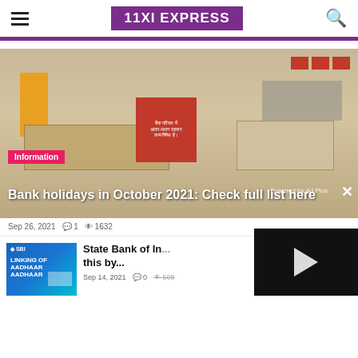11XI EXPRESS
[Figure (photo): Bank interior with desks, signs, and a red notice board. Information category tag visible. Article overlay text.]
Bank holidays in October 2021: Check full list here
Sep 26, 2021  1  1632
[Figure (photo): SBI Aadhaar card thumbnail image]
State Bank of In... this by...
Sep 14, 2021  0  508